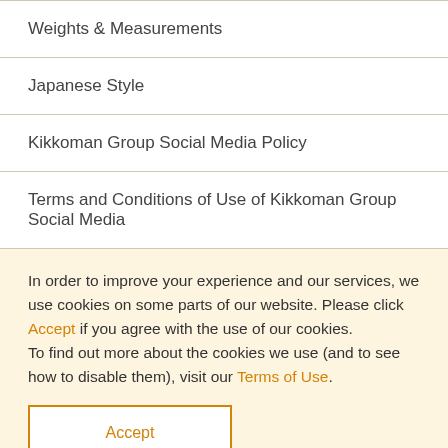Weights & Measurements
Japanese Style
Kikkoman Group Social Media Policy
Terms and Conditions of Use of Kikkoman Group Social Media
In order to improve your experience and our services, we use cookies on some parts of our website. Please click Accept if you agree with the use of our cookies.
To find out more about the cookies we use (and to see how to disable them), visit our Terms of Use.